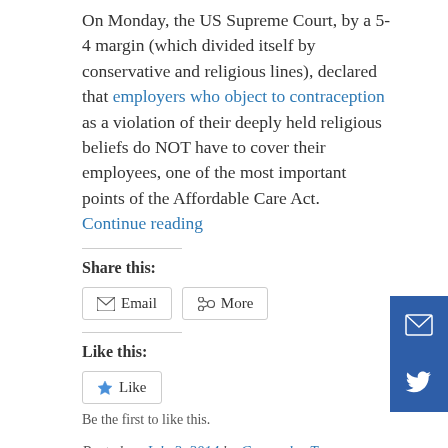On Monday, the US Supreme Court, by a 5-4 margin (which divided itself by conservative and religious lines), declared that employers who object to contraception as a violation of their deeply held religious beliefs do NOT have to cover their employees, one of the most important points of the Affordable Care Act.  Continue reading
Share this:
Email   More
Like this:
Like
Be the first to like this.
Posted on July 2, 2014 by Cassandra Troy
Posted in Civil Liberties, Constitution, Government, Politics, Supreme Court of the United States (SCOTUS)   Tagged 14th Amendment, 2014 Election, 2nd Amendment, American